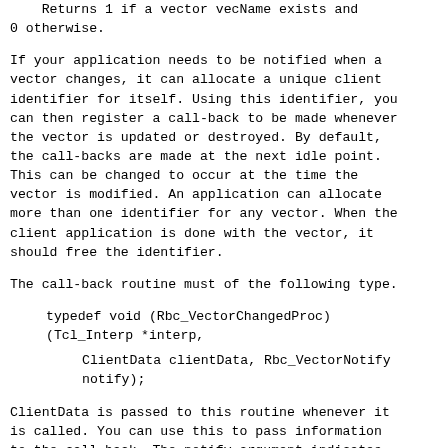Returns 1 if a vector vecName exists and 0 otherwise.
If your application needs to be notified when a vector changes, it can allocate a unique client identifier for itself. Using this identifier, you can then register a call-back to be made whenever the vector is updated or destroyed. By default, the call-backs are made at the next idle point. This can be changed to occur at the time the vector is modified. An application can allocate more than one identifier for any vector. When the client application is done with the vector, it should free the identifier.
The call-back routine must of the following type.
ClientData is passed to this routine whenever it is called. You can use this to pass information to the call-back. The notify argument indicates whether the vector has been updated of destroyed. It is an enumerated type.